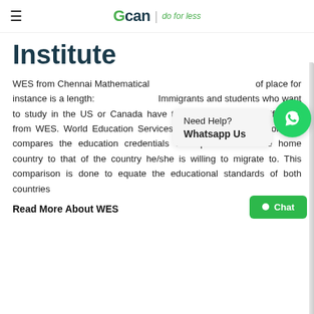≡   GCAN | do for less
Institute
WES from Chennai Mathematical Institute of place for instance is a lengthy process. Immigrants and students who want to study in the US or Canada have to get assessment certification from WES. World Education Services (WES) is an association that compares the education credentials of a person from the home country to that of the country he/she is willing to migrate to. This comparison is done to equate the educational standards of both countries
Need Help? Whatsapp Us
Read More About WES